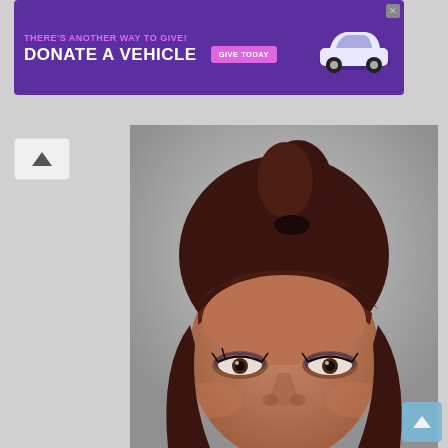[Figure (infographic): Purple advertisement banner reading 'THERE'S ANOTHER WAY TO GIVE! DONATE A VEHICLE' with a pink 'GIVE TODAY' button and a white car illustration on the right]
[Figure (photo): Close-up headshot photograph of a woman with dark reddish-brown hair pulled up with bangs, wearing silver earrings, set against a neutral gray background]